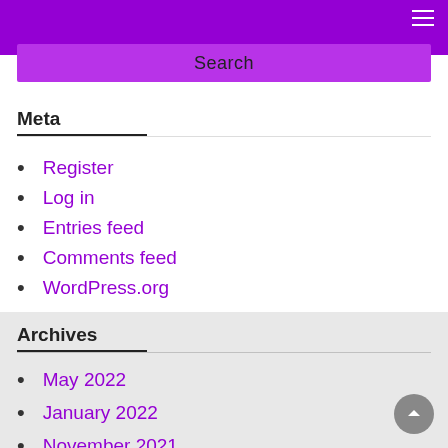Search
Meta
Register
Log in
Entries feed
Comments feed
WordPress.org
Archives
May 2022
January 2022
November 2021
September 2021